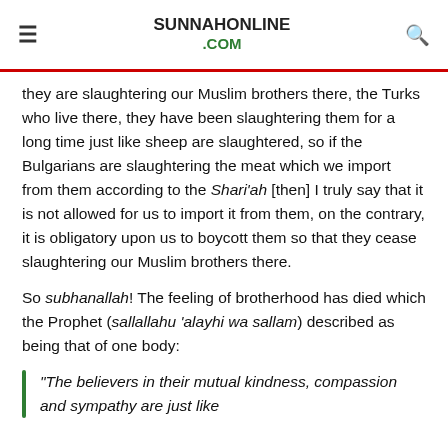SUNNAHONLINE .COM
they are slaughtering our Muslim brothers there, the Turks who live there, they have been slaughtering them for a long time just like sheep are slaughtered, so if the Bulgarians are slaughtering the meat which we import from them according to the Shari'ah [then] I truly say that it is not allowed for us to import it from them, on the contrary, it is obligatory upon us to boycott them so that they cease slaughtering our Muslim brothers there.
So subhanallah! The feeling of brotherhood has died which the Prophet (sallallahu 'alayhi wa sallam) described as being that of one body:
"The believers in their mutual kindness, compassion and sympathy are just like